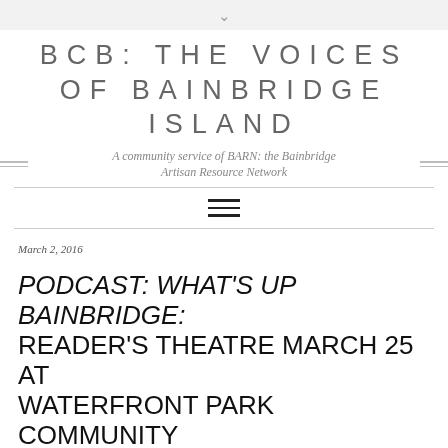∨
BCB: THE VOICES OF BAINBRIDGE ISLAND
A community service of BARN: the Bainbridge Artisan Resource Network
≡
March 2, 2016
PODCAST: WHAT'S UP BAINBRIDGE: READER'S THEATRE MARCH 25 AT WATERFRONT PARK COMMUNITY